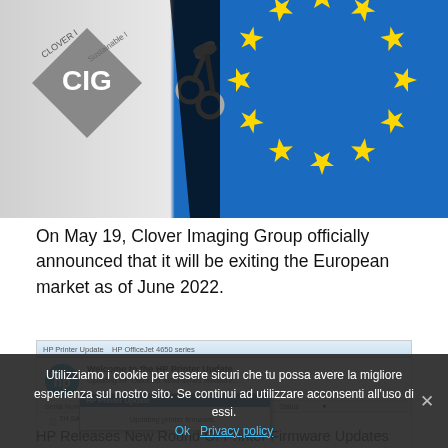[Figure (photo): Composite image showing Clover Imaging Group logo on gray background on the left, scissors cutting diagonally in center, and EU flag (blue with yellow stars) on the right.]
On May 19, Clover Imaging Group officially announced that it will be exiting the European market as of June 2022.
[Figure (screenshot): HP Printer Update software screenshot showing 'Welcome to the HP Printer Update' dialog, updating HP OfficeJet 4650 series firmware, with a table showing Serial Number, Host Name, Port/Address, Version, Status columns, a row with TH-SAE3H0088, and a popup dialog saying 'HP Printer Update - Updating printer firmware...']
Utilizziamo i cookie per essere sicuri che tu possa avere la migliore esperienza sul nostro sito. Se continui ad utilizzare acconsenti all'uso di essi.
HP Releases New Round Of Printer Firmware Updates